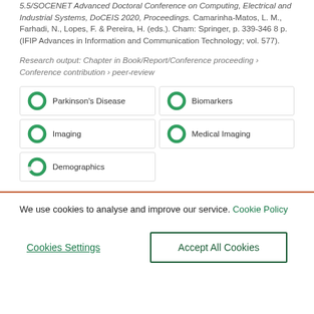5.5/SOCENET Advanced Doctoral Conference on Computing, Electrical and Industrial Systems, DoCEIS 2020, Proceedings. Camarinha-Matos, L. M., Farhadi, N., Lopes, F. & Pereira, H. (eds.). Cham: Springer, p. 339-346 8 p. (IFIP Advances in Information and Communication Technology; vol. 577).
Research output: Chapter in Book/Report/Conference proceeding › Conference contribution › peer-review
100% Parkinson's Disease
100% Biomarkers
100% Imaging
100% Medical Imaging
91% Demographics
We use cookies to analyse and improve our service. Cookie Policy
Cookies Settings
Accept All Cookies